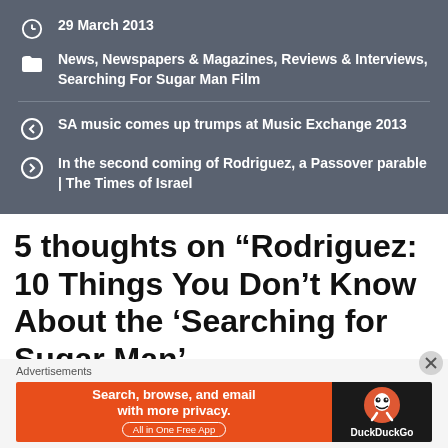29 March 2013
News, Newspapers & Magazines, Reviews & Interviews, Searching For Sugar Man Film
SA music comes up trumps at Music Exchange 2013
In the second coming of Rodriguez, a Passover parable | The Times of Israel
5 thoughts on “Rodriguez: 10 Things You Don’t Know About the ‘Searching for Sugar Man’
Advertisements
[Figure (screenshot): DuckDuckGo advertisement banner: orange left panel with text 'Search, browse, and email with more privacy. All in One Free App', dark right panel with DuckDuckGo logo and duck icon.]